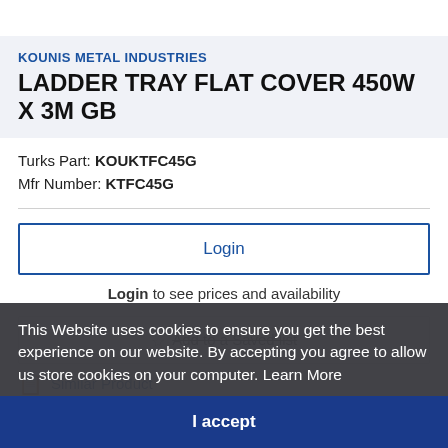KOUNIS METAL INDUSTRIES
LADDER TRAY FLAT COVER 450W X 3M GB
Turks Part: KOUKTFC45G
Mfr Number: KTFC45G
Login
Login to see prices and availability
Add to a Saved list
Similar Product
This Website uses cookies to ensure you get the best experience on our website. By accepting you agree to allow us store cookies on your computer. Learn More
I accept